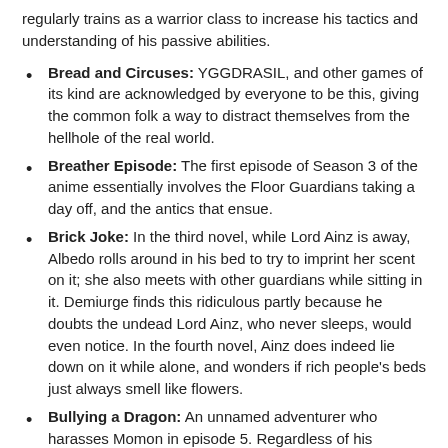regularly trains as a warrior class to increase his tactics and understanding of his passive abilities.
Bread and Circuses: YGGDRASIL, and other games of its kind are acknowledged by everyone to be this, giving the common folk a way to distract themselves from the hellhole of the real world.
Breather Episode: The first episode of Season 3 of the anime essentially involves the Floor Guardians taking a day off, and the antics that ensue.
Brick Joke: In the third novel, while Lord Ainz is away, Albedo rolls around in his bed to try to imprint her scent on it; she also meets with other guardians while sitting in it. Demiurge finds this ridiculous partly because he doubts the undead Lord Ainz, who never sleeps, would even notice. In the fourth novel, Ainz does indeed lie down on it while alone, and wonders if rich people's beds just always smell like flowers.
Bullying a Dragon: An unnamed adventurer who harasses Momon in episode 5. Regardless of his adventurer ranking at the time, Momon is completely clad in a full suit of armour that most people can tell just by looking is incredibly high quality. That's not to mention that Momon himself